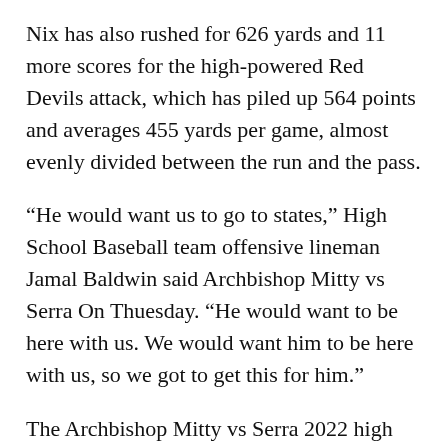Nix has also rushed for 626 yards and 11 more scores for the high-powered Red Devils attack, which has piled up 564 points and averages 455 yards per game, almost evenly divided between the run and the pass.
“He would want us to go to states,” High School Baseball team offensive lineman Jamal Baldwin said Archbishop Mitty vs Serra On Thuesday. “He would want to be here with us. We would want him to be here with us, so we got to get this for him.”
The Archbishop Mitty vs Serra 2022 high school Baseball season is coming to a close, and this week four MaxPreps Top 25 teams will compete for a state championship. No. 18 Thompson (NFSH) got